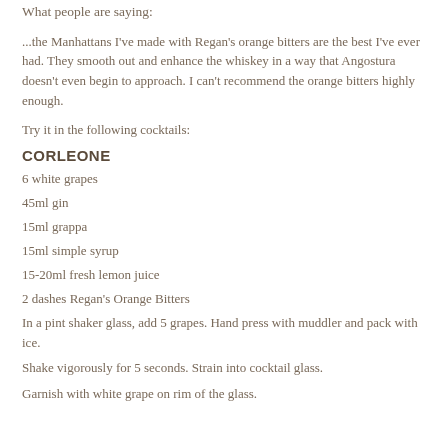What people are saying:
...the Manhattans I've made with Regan's orange bitters are the best I've ever had. They smooth out and enhance the whiskey in a way that Angostura doesn't even begin to approach. I can't recommend the orange bitters highly enough.
Try it in the following cocktails:
CORLEONE
6 white grapes
45ml gin
15ml grappa
15ml simple syrup
15-20ml fresh lemon juice
2 dashes Regan's Orange Bitters
In a pint shaker glass, add 5 grapes. Hand press with muddler and pack with ice.
Shake vigorously for 5 seconds. Strain into cocktail glass.
Garnish with white grape on rim of the glass.